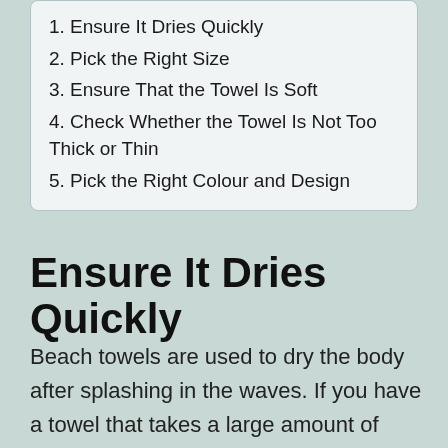1. Ensure It Dries Quickly
2. Pick the Right Size
3. Ensure That the Towel Is Soft
4. Check Whether the Towel Is Not Too Thick or Thin
5. Pick the Right Colour and Design
Ensure It Dries Quickly
Beach towels are used to dry the body after splashing in the waves. If you have a towel that takes a large amount of time to dry, you'll likely find yourself sitting on an uncomfortable, wet cushion. Moreover, it will easily attract